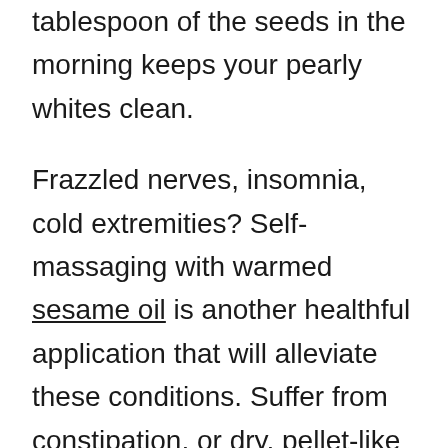tablespoon of the seeds in the morning keeps your pearly whites clean.
Frazzled nerves, insomnia, cold extremities? Self-massaging with warmed sesame oil is another healthful application that will alleviate these conditions. Suffer from constipation, or dry, pellet-like stool? The warming nature of sesame will promote better digestion and help lubricate the intestines. However, as a heavy food, sesame must be chewed carefully to aid the body in assimilating its healthful qualities. If you tend toward inflammation, rashes, diarrhea, and nut allergies, you should be taken more about if